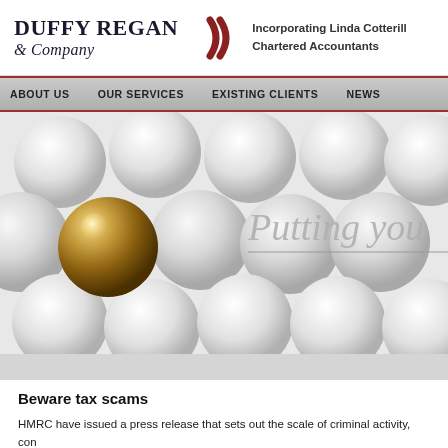[Figure (logo): Duffy Regan & Company logo with red chevron mark and tagline 'Incorporating Linda Cotterill Chartered Accountants']
ABOUT US   OUR SERVICES   EXISTING CLIENTS   NEWS
[Figure (illustration): Banner image of white spherical balls with one golden/brass ball among them; text overlay reads 'Putting you' in italic grey serif font]
Beware tax scams
HMRC have issued a press release that sets out the scale of criminal activity, con to part with bank or personal details under threat of arrest or court action.